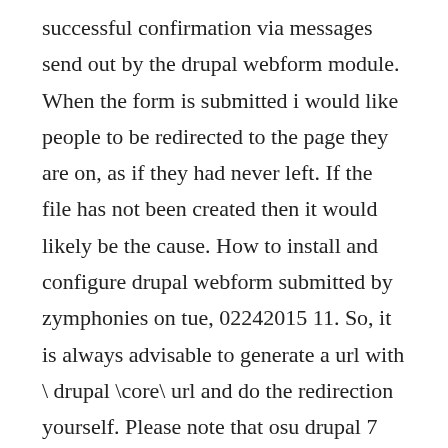successful confirmation via messages send out by the drupal webform module. When the form is submitted i would like people to be redirected to the page they are on, as if they had never left. If the file has not been created then it would likely be the cause. How to install and configure drupal webform submitted by zymphonies on tue, 02242015 11. So, it is always advisable to generate a url with \ drupal \core\ url and do the redirection yourself. Please note that osu drupal 7 will only allow the following items to be uploaded into the system. Webform configuration